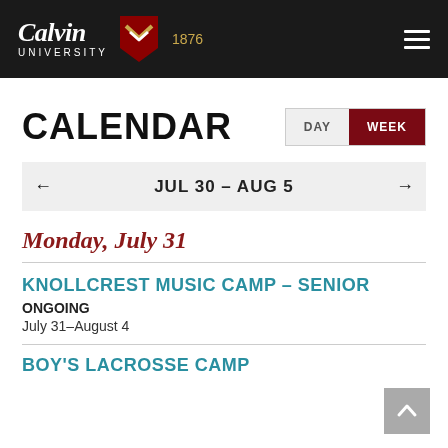Calvin University 1876
CALENDAR
DAY | WEEK
JUL 30 – AUG 5
Monday, July 31
KNOLLCREST MUSIC CAMP – SENIOR
ONGOING
July 31–August 4
BOY'S LACROSSE CAMP